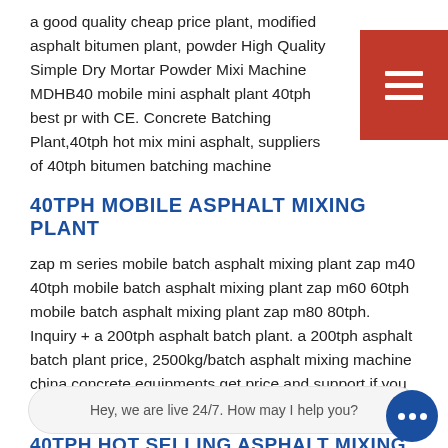a good quality cheap price plant, modified asphalt bitumen plant, powder High Quality Simple Dry Mortar Powder Mixing Machine MDHB40 mobile mini asphalt plant 40tph best price with CE. Concrete Batching Plant,40tph hot mix mini asphalt, suppliers of 40tph bitumen batching machine
40TPH MOBILE ASPHALT MIXING PLANT
zap m series mobile batch asphalt mixing plant zap m40 40tph mobile batch asphalt mixing plant zap m60 60tph mobile batch asphalt mixing plant zap m80 80tph. Inquiry + a 200tph asphalt batch plant. a 200tph asphalt batch plant price, 2500kg/batch asphalt mixing machine china concrete equipments get price and support if you have any problems or.
40TPH HOT SELLING ASPHALT MIXING PLANT PRICE
40tph Hot Selling Asphalt Mixing Plant | asphalt plant ... Suppliers Of 120tph Batch Mix Asphalt ... alt batching plant at. lb1500 asphalt mixing plant for capacity lb1500 hot asphalt asphalt batch asphalt batch mixing